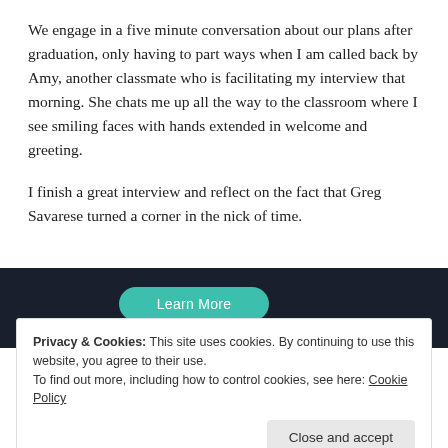We engage in a five minute conversation about our plans after graduation, only having to part ways when I am called back by Amy, another classmate who is facilitating my interview that morning. She chats me up all the way to the classroom where I see smiling faces with hands extended in welcome and greeting.
I finish a great interview and reflect on the fact that Greg Savarese turned a corner in the nick of time.
[Figure (screenshot): Dark banner with teal 'Learn More' button]
Privacy & Cookies: This site uses cookies. By continuing to use this website, you agree to their use.
To find out more, including how to control cookies, see here: Cookie Policy
Close and accept